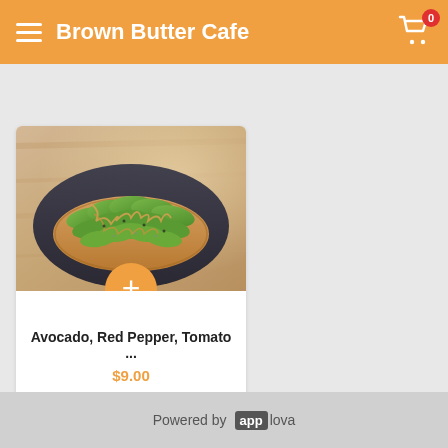Brown Butter Cafe
Home ▶ Toasts
[Figure (photo): Avocado toast on a dark plate with sliced avocado fanned out and drizzled with sauce, on a wooden table background]
Avocado, Red Pepper, Tomato ...
$9.00
Powered by app lova